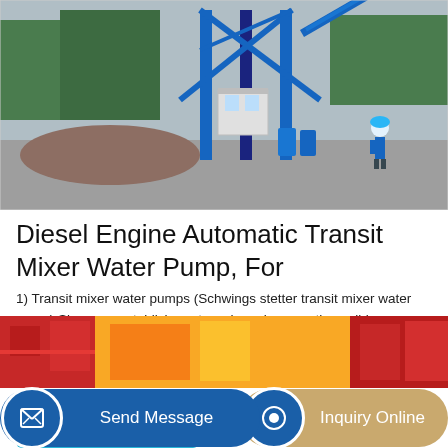[Figure (photo): Outdoor photo of a large blue steel industrial batching plant structure with a small white control cabin, blue barrels, gravel pile, and a worker in blue uniform and hard hat standing nearby. Trees and overcast sky in background.]
Diesel Engine Automatic Transit Mixer Water Pump, For
1) Transit mixer water pumps (Schwings stetter transit mixer water pump) Since our establishment, we have become the well-known manufacturer and supplier of a highly efficient range of Transit Mixer Water Pump.Our mixer pump is praised for its low-maintenance, sturdy design and high performance.
[Figure (photo): Partial view of yellow and red heavy construction machinery at bottom of page.]
Send Message
Inquiry Online